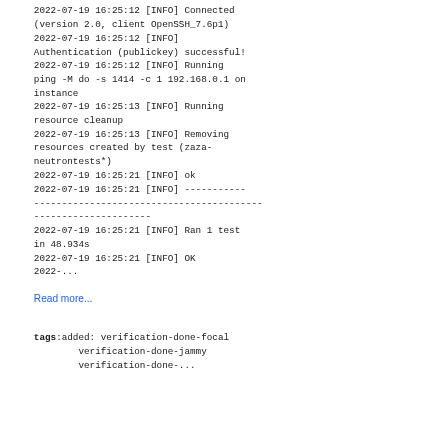2022-07-19 16:25:12 [INFO] Connected (version 2.0, client OpenSSH_7.6p1)
2022-07-19 16:25:12 [INFO] Authentication (publickey) successful!
2022-07-19 16:25:12 [INFO] Running ping -M do -s 1414 -c 1 192.168.0.1 on instance
2022-07-19 16:25:13 [INFO] Running resource cleanup
2022-07-19 16:25:13 [INFO] Removing resources created by test (zaza-neutrontests*)
2022-07-19 16:25:21 [INFO] ok
2022-07-19 16:25:21 [INFO] -------------------------------------------------------------------------------------
2022-07-19 16:25:21 [INFO] Ran 1 test in 48.934s
2022-07-19 16:25:21 [INFO] OK
2022-...
Read more...
tags:added: verification-done-focal
        verification-done-jammy
        verification-done-...